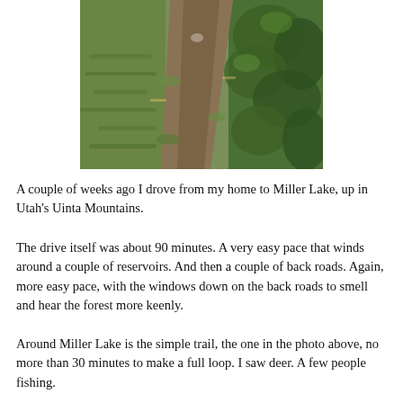[Figure (photo): A dirt hiking trail winding through green grass and vegetation, viewed from above, with green shrubs and plants on either side.]
A couple of weeks ago I drove from my home to Miller Lake, up in Utah's Uinta Mountains.
The drive itself was about 90 minutes. A very easy pace that winds around a couple of reservoirs. And then a couple of back roads. Again, more easy pace, with the windows down on the back roads to smell and hear the forest more keenly.
Around Miller Lake is the simple trail, the one in the photo above, no more than 30 minutes to make a full loop. I saw deer. A few people fishing.